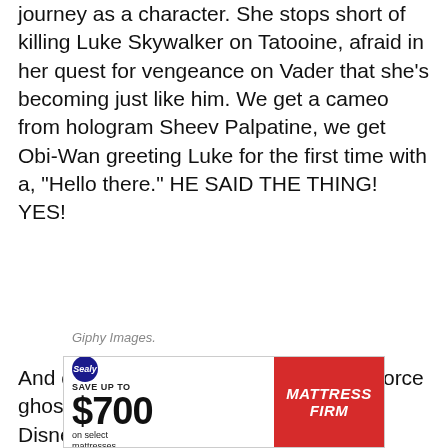journey as a character. She stops short of killing Luke Skywalker on Tatooine, afraid in her quest for vengeance on Vader that she's becoming just like him. We get a cameo from hologram Sheev Palpatine, we get Obi-Wan greeting Luke for the first time with a, "Hello there." HE SAID THE THING! YES!
Giphy Images.
And of course, finally, a Qui-Gon Jinn Force ghost to cap... about Disney...
[Figure (infographic): Advertisement banner: Sealy brand. Save up to $700 on select mattresses. Mattress Firm logo on red background.]